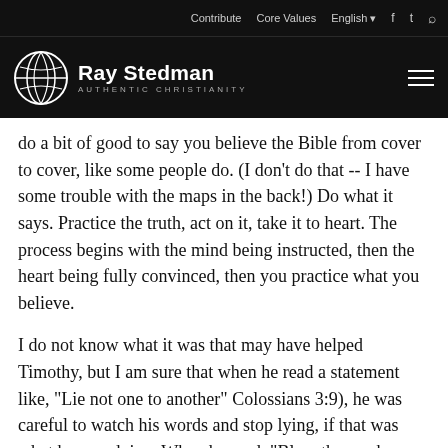Contribute | Core Values | English | [social icons]
Ray Stedman — AUTHENTIC CHRISTIANITY
do a bit of good to say you believe the Bible from cover to cover, like some people do. (I don't do that -- I have some trouble with the maps in the back!) Do what it says. Practice the truth, act on it, take it to heart. The process begins with the mind being instructed, then the heart being fully convinced, then you practice what you believe.
I do not know what it was that may have helped Timothy, but I am sure that when he read a statement like, "Lie not one to another" Colossians 3:9), he was careful to watch his words and stop lying, if that was what he was doing. When he read, "Bless those who